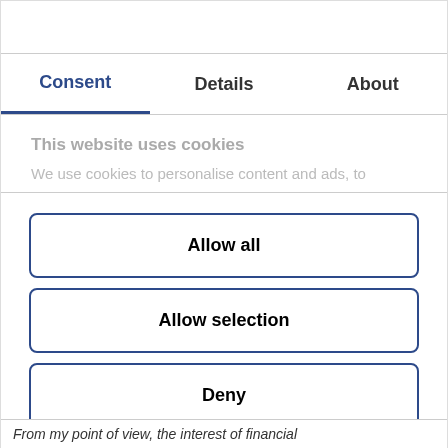Consent | Details | About
This website uses cookies
We use cookies to personalise content and ads, to
Allow all
Allow selection
Deny
Powered by Cookiebot by Usercentrics
From my point of view, the interest of financial